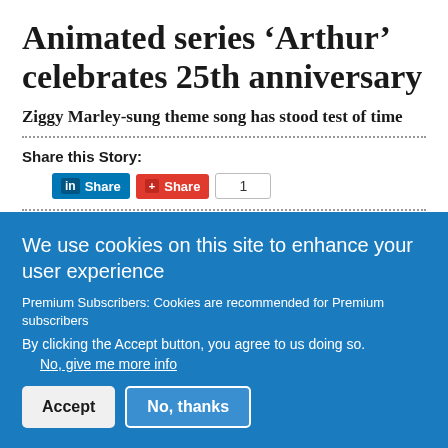Animated series ‘Arthur’ celebrates 25th anniversary
Ziggy Marley-sung theme song has stood test of time
Share this Story:
Published: Tuesday | January 25, 2022 | 12:09 AM | Anthony Turner/Gleaner Writer
We use cookies on this site to enhance your user experience
Premium Subscribers: Cookies are recommended for Premium subscribers
By clicking the Accept button, you agree to us doing so.
No, give me more info